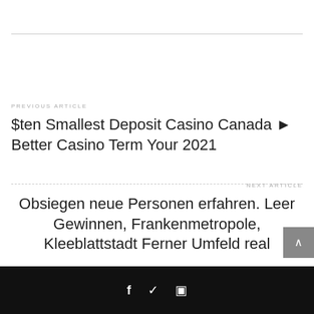PREVIOUS ARTICLE
$ten Smallest Deposit Casino Canada ▶ Better Casino Term Your 2021
NEXT ARTICLE
Obsiegen neue Personen erfahren. Leer Gewinnen, Frankenmetropole, Kleeblattstadt Ferner Umfeld real
f  ✓  ⊡